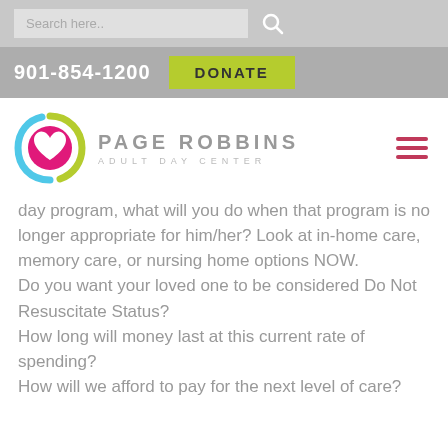Search here..
901-854-1200   DONATE
[Figure (logo): Page Robbins Adult Day Center logo — circular swirl in pink, green, and blue with a heart shape, beside the text PAGE ROBBINS ADULT DAY CENTER]
day program, what will you do when that program is no longer appropriate for him/her? Look at in-home care, memory care, or nursing home options NOW. Do you want your loved one to be considered Do Not Resuscitate Status? How long will money last at this current rate of spending? How will we afford to pay for the next level of care?